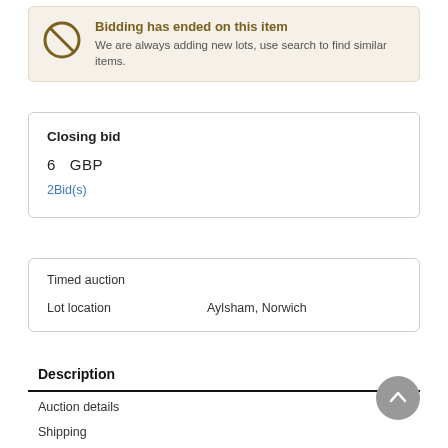Bidding has ended on this item
We are always adding new lots, use search to find similar items.
Closing bid
6  GBP
2Bid(s)
Timed auction
Lot location    Aylsham, Norwich
Description
Auction details
Shipping